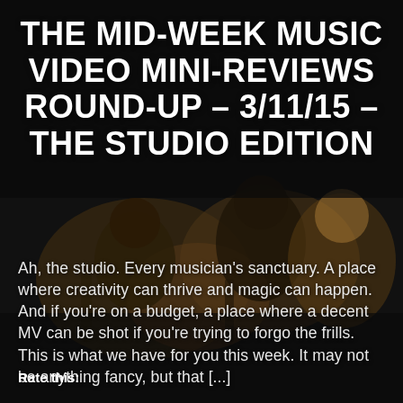[Figure (photo): Dark studio scene with musicians, dark background with brownish/warm tones partially visible underneath overlays]
THE MID-WEEK MUSIC VIDEO MINI-REVIEWS ROUND-UP – 3/11/15 – THE STUDIO EDITION
Ah, the studio. Every musician's sanctuary. A place where creativity can thrive and magic can happen. And if you're on a budget, a place where a decent MV can be shot if you're trying to forgo the frills. This is what we have for you this week. It may not be anything fancy, but that [...]
Rate this: